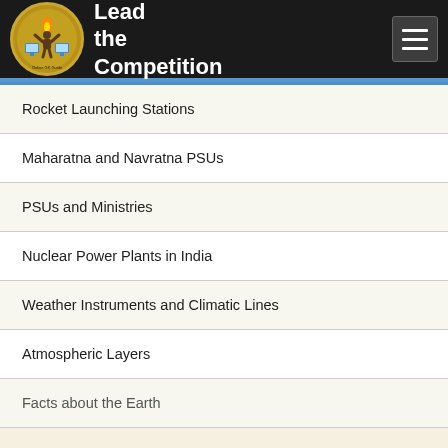Lead the Competition
Rocket Launching Stations
Maharatna and Navratna PSUs
PSUs and Ministries
Nuclear Power Plants in India
Weather Instruments and Climatic Lines
Atmospheric Layers
Facts about the Earth